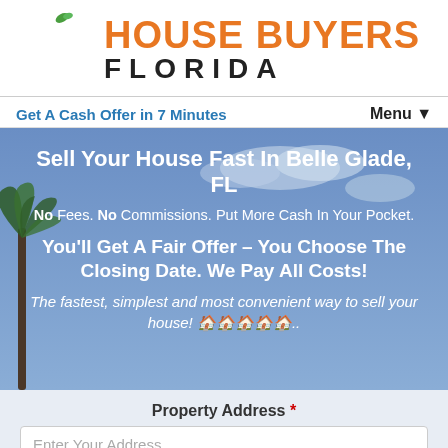[Figure (logo): House Buyers Florida logo with orange peach/circle icon and green leaf, company name in orange and black text]
Get A Cash Offer in 7 Minutes | Menu ▼
Sell Your House Fast In Belle Glade, FL
No Fees. No Commissions. Put More Cash In Your Pocket.
You'll Get A Fair Offer – You Choose The Closing Date. We Pay All Costs!
The fastest, simplest and most convenient way to sell your house! 🏠🏠🏠🏠🏠..
Property Address *
Enter Your Address